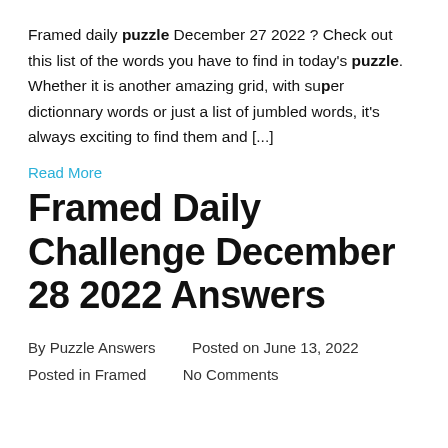Framed daily puzzle December 27 2022 ? Check out this list of the words you have to find in today's puzzle. Whether it is another amazing grid, with super dictionnary words or just a list of jumbled words, it's always exciting to find them and [...]
Read More
Framed Daily Challenge December 28 2022 Answers
By Puzzle Answers    Posted on June 13, 2022
Posted in Framed    No Comments